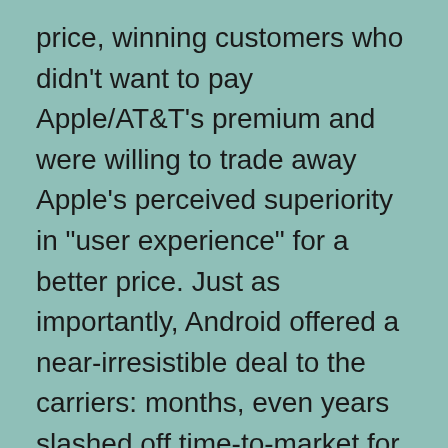price, winning customers who didn't want to pay Apple/AT&T's premium and were willing to trade away Apple's perceived superiority in “user experience” for a better price. Just as importantly, Android offered a near-irresistible deal to the carriers: months, even years slashed off time-to-market for a state-of-the-art cellphone; a huge advantage in licensing costs; and the illusion (now disintegrating) that said carriers would be able to retain enough control of Android-powered devices to practice their habitual screw-the-customer tactics.

In Christensen’s model, a market being